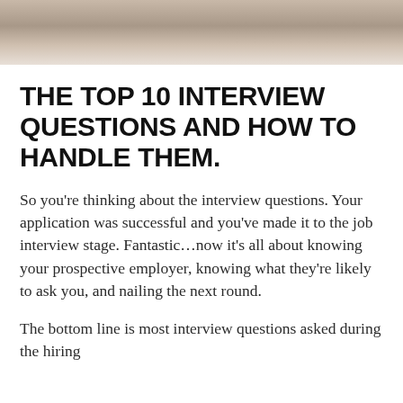[Figure (photo): Partial photo at the top of the page showing what appears to be a person's hands or feet on a textured stone or rock surface, cropped at the bottom of the image.]
THE TOP 10 INTERVIEW QUESTIONS AND HOW TO HANDLE THEM.
So you’re thinking about the interview questions. Your application was successful and you’ve made it to the job interview stage. Fantastic…now it’s all about knowing your prospective employer, knowing what they’re likely to ask you, and nailing the next round.
The bottom line is most interview questions asked during the hiring